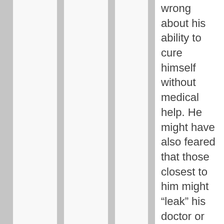wrong about his ability to cure himself without medical help. He might have also feared that those closest to him might “leak” his doctor or dental visits or if they didn’t leak them then at least they would lose their awe of him. His visiting doctors and dentists would take away his omnipotence, or I should say his AURA of